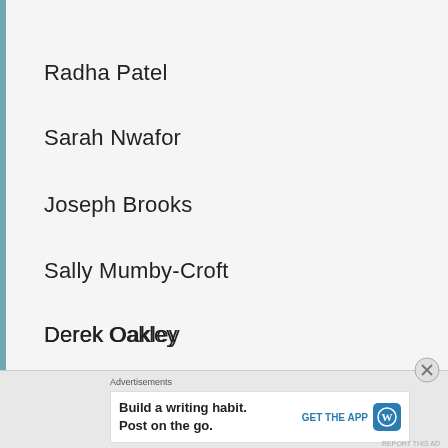Radha Patel
Sarah Nwafor
Joseph Brooks
Sally Mumby-Croft
Derek Oakley
David Bell
Marika Roset
Advertisements
Build a writing habit. Post on the go. GET THE APP